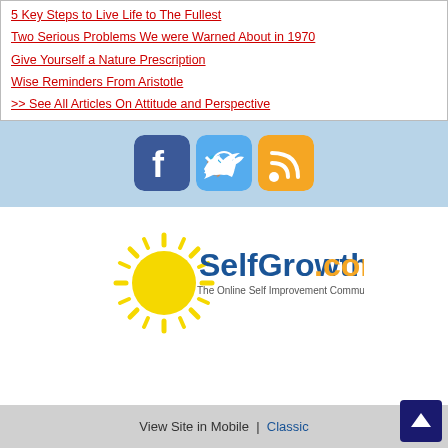5 Key Steps to Live Life to The Fullest
Two Serious Problems We were Warned About in 1970
Give Yourself a Nature Prescription
Wise Reminders From Aristotle
>> See All Articles On Attitude and Perspective
[Figure (logo): Facebook, Twitter, and RSS social media icon buttons on a light blue background]
[Figure (logo): SelfGrowth.com logo with sun graphic and tagline: The Online Self Improvement Community]
View Site in Mobile  |  Classic